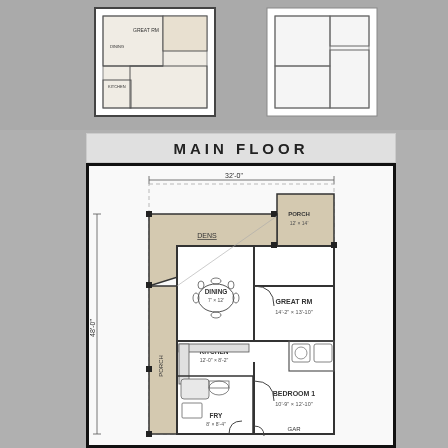[Figure (schematic): Two small floor plan thumbnails shown at top of page on gray background]
MAIN FLOOR
[Figure (engineering-diagram): Main floor plan showing rooms: PORCH (12x14), DENS, DINING (7x12), KITCHEN (12-0 x 8-2), GREAT RM (14-2 x 13-10), BEDROOM 1 (10-9 x 12-10), FRY (8x8-4), PORCH. Overall dimensions 32-0 wide x 48-0 tall.]